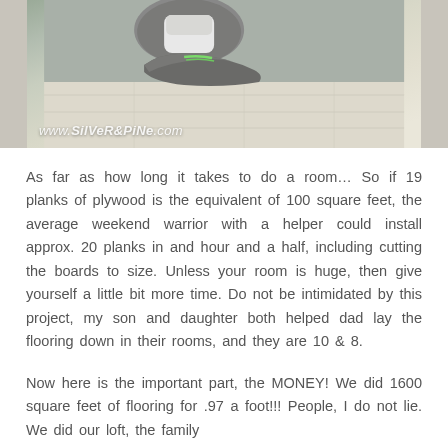[Figure (photo): Photo of a child's sneaker/shoe with green laces on a light wood plywood floor, with watermark text 'www.silver&pine.com' in bottom left corner]
As far as how long it takes to do a room… So if 19 planks of plywood is the equivalent of 100 square feet, the average weekend warrior with a helper could install approx. 20 planks in and hour and a half, including cutting the boards to size. Unless your room is huge, then give yourself a little bit more time. Do not be intimidated by this project, my son and daughter both helped dad lay the flooring down in their rooms, and they are 10 & 8.
Now here is the important part, the MONEY! We did 1600 square feet of flooring for .97 a foot!!! People, I do not lie. We did our loft, the family